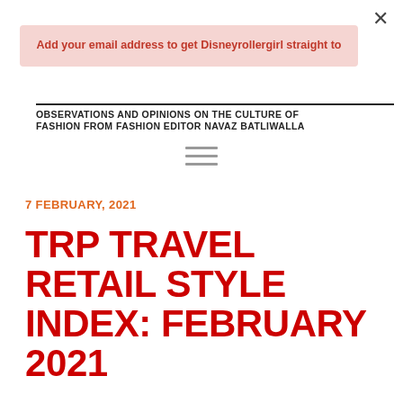×
Add your email address to get Disneyrollergirl straight to
OBSERVATIONS AND OPINIONS ON THE CULTURE OF FASHION FROM FASHION EDITOR NAVAZ BATLIWALLA
[Figure (other): Hamburger menu icon with three horizontal lines]
7 FEBRUARY, 2021
TRP TRAVEL RETAIL STYLE INDEX: FEBRUARY 2021